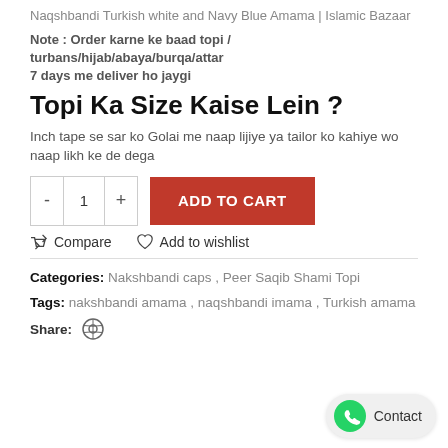Naqshbandi Turkish white and Navy Blue Amama | Islamic Bazaar
Note : Order karne ke baad topi / turbans/hijab/abaya/burqa/attar 7 days me deliver ho jaygi
Topi Ka Size Kaise Lein ?
Inch tape se sar ko Golai me naap lijiye ya tailor ko kahiye wo naap likh ke de dega
ADD TO CART
Compare   Add to wishlist
Categories: Nakshbandi caps , Peer Saqib Shami Topi
Tags: nakshbandi amama , naqshbandi imama , Turkish amama
Share: